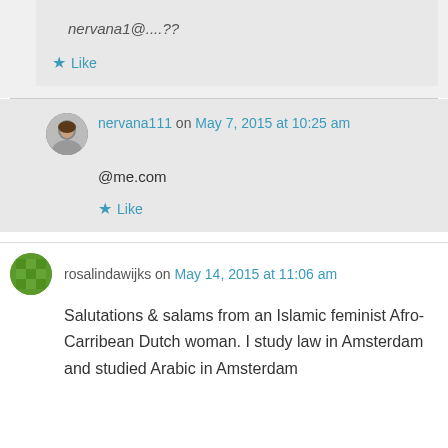nervana1@....??
Like
nervana111 on May 7, 2015 at 10:25 am
@me.com
Like
rosalindawijks on May 14, 2015 at 11:06 am
Salutations & salams from an Islamic feminist Afro-Carribean Dutch woman. I study law in Amsterdam and studied Arabic in Amsterdam